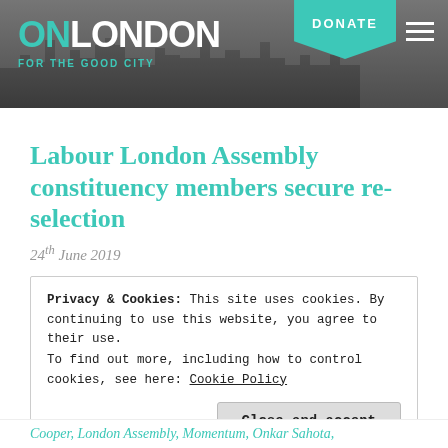[Figure (logo): OnLondon website header banner with cityscape background, teal ON LONDON logo with tagline FOR THE GOOD CITY, teal DONATE button, and hamburger menu icon]
Labour London Assembly constituency members secure re-selection
24th June 2019
Privacy & Cookies: This site uses cookies. By continuing to use this website, you agree to their use.
To find out more, including how to control cookies, see here: Cookie Policy
Close and accept
Cooper, London Assembly, Momentum, Onkar Sahota,